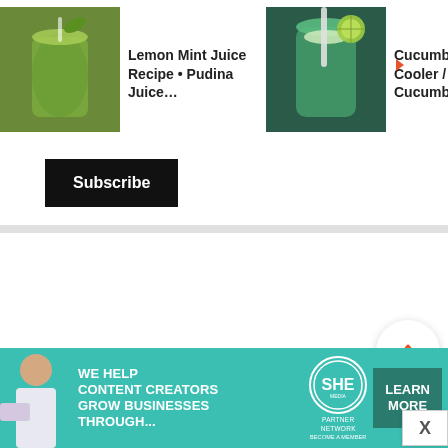[Figure (photo): Green juice/drink in a glass - Lemon Mint Juice Recipe thumbnail]
Lemon Mint Juice Recipe • Pudina Juice…
[Figure (photo): Green cucumber mint cooler in a glass mug thumbnail]
Cucumber Mint Cooler / Cucumber….
[Figure (photo): Brown drink with straw - Watermelon Pineapple Chia Drink thumbnail]
Watermelon Pineapple Chia Drink
[Figure (screenshot): Subscribe button - black background with white text]
[Figure (infographic): Floating UI buttons: up chevron, heart/like with count 32, and orange search button]
[Figure (infographic): Advertisement banner: SHE Partner Network - We help content creators grow businesses through...]
WE HELP CONTENT CREATORS GROW BUSINESSES THROUGH...
SHE PARTNER NETWORK BECOME A MEMBER
LEARN MORE